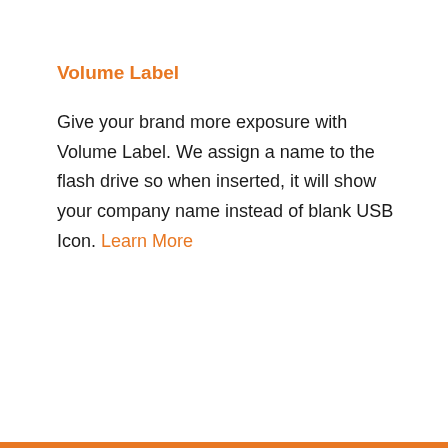Volume Label
Give your brand more exposure with Volume Label. We assign a name to the flash drive so when inserted, it will show your company name instead of blank USB Icon. Learn More